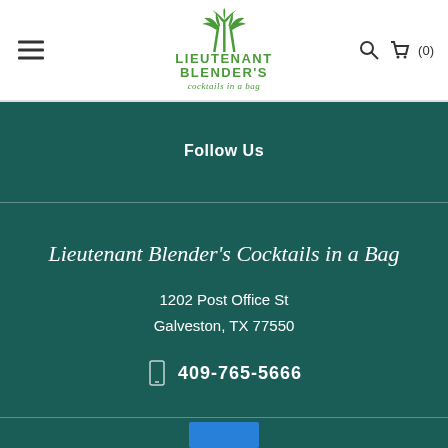[Figure (logo): Lieutenant Blender's Cocktails in a Bag logo with green palm trees icon and green text]
Follow Us
Lieutenant Blender's Cocktails in a Bag
1202 Post Office St
Galveston, TX 77550
409-765-5666